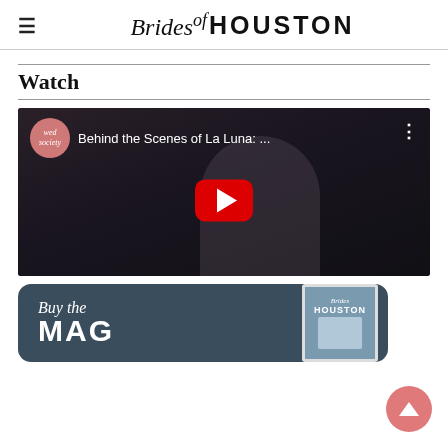≡  Brides of Houston
Watch
[Figure (screenshot): YouTube video thumbnail for 'Behind the Scenes of La Luna: ...' by wed society channel, showing a woman in white dress with a red YouTube play button overlay on dark background.]
[Figure (illustration): Buy the Mag banner on dark blue-grey background with script 'Buy the' and bold 'MAG' text alongside a Brides of Houston magazine cover image.]